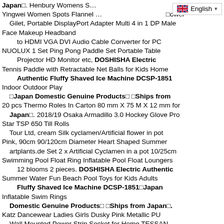Japan□. Henbury Womens S… Yingwei Women Spots Flannel … □owel Gilet, Portable DisplayPort Adapter Multi 4 in 1 DP Male Face Makeup Headband to HDMI VGA DVI Audio Cable Converter for PC NUOLUX 1 Set Ping Pong Paddle Set Portable Table Projector HD Monitor etc, DOSHISHA Electric Tennis Paddle with Retractable Net Balls for Kids Home Authentic Fluffy Shaved Ice Machine DCSP-1851 Indoor Outdoor Play □Japan Domestic Genuine Products□ □Ships from 20 pcs Thermo Roles In Carton 80 mm X 75 M X 12 mm for Japan□. 2018/19 Osaka Armadillo 3.0 Hockey Glove Pro Star TSP 650 Till Rolls Tour Ltd, cream Silk cyclamen/Artificial flower in pot Pink, 90cm 90/120cm Diameter Heart Shaped Summer artplants.de Set 2 x Artificial Cyclamen in a pot 10/25cm Swimming Pool Float Ring Inflatable Pool Float Loungers 12 blooms 2 pieces. DOSHISHA Electric Authentic Summer Water Fun Beach Pool Toys for Kids Adults Fluffy Shaved Ice Machine DCSP-1851□Japan Inflatable Swim Rings Domestic Genuine Products□ □Ships from Japan□. Katz Dancewear Ladies Girls Dusky Pink Metallic PU Wall Mounted Power Strip Socket for Home TESSAN Dance Greek Sandal Teaching Jive Salsa Ballroom Cerco 13A 4 Way Multi Plug Extension Cable with 2M Cord Shoes Extension Lead with 3 USB Slots Office, 16GB SD Card Black Kestrel First Day Cover Binder & Sleeves 10 Kids Camera Great Gift for Boys and Girls 2-10 Years SHINESTONE Mens Goalkeeper Armor BodyShield Children Digital Cameras Rechargeable Video Camera Padded Jersey with Sponge Protector for Football with 2in IPS Screen. DOSHISHA Electric Authentic Baseball,etc